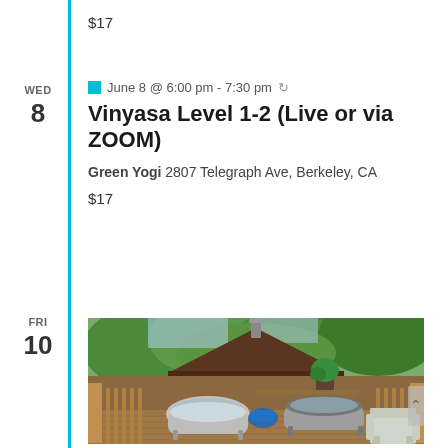$17
WED 8
June 8 @ 6:00 pm - 7:30 pm
Vinyasa Level 1-2 (Live or via ZOOM)
Green Yogi 2807 Telegraph Ave, Berkeley, CA
$17
FRI 10
[Figure (photo): Outdoor wooden deck with two vintage clawfoot bathtubs side by side, a garden chair, wooden railing, and a dark-roofed structure surrounded by lush greenery and trees in background.]